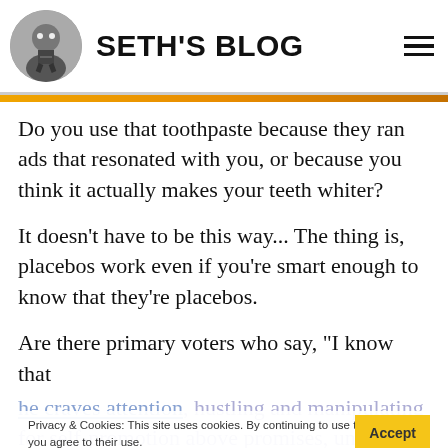SETH'S BLOG
Do you use that toothpaste because they ran ads that resonated with you, or because you think it actually makes your teeth whiter?
It doesn't have to be this way... The thing is, placebos work even if you're smart enough to know that they're placebos.
Are there primary voters who say, "I know that he craves attention, hustling and manipulating for self-promotion above promises, unrealistic action, but I'm going to vote for him anyway, because it makes me feel powerful to do so..."?
Privacy & Cookies: This site uses cookies. By continuing to use this website, you agree to their use. To find out more, including how to control cookies, see here: Cookie Policy